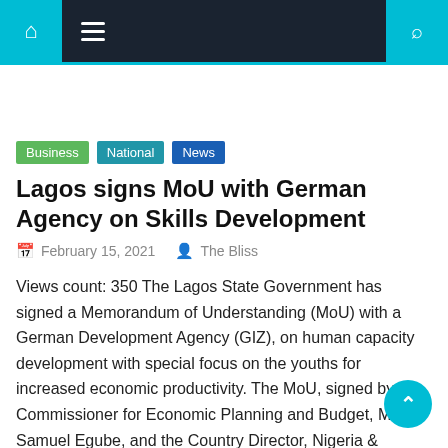Navigation bar with home, menu, and search icons
Business  National  News
Lagos signs MoU with German Agency on Skills Development
February 15, 2021   The Bliss
Views count: 350 The Lagos State Government has signed a Memorandum of Understanding (MoU) with a German Development Agency (GIZ), on human capacity development with special focus on the youths for increased economic productivity. The MoU, signed by the Commissioner for Economic Planning and Budget, Mr. Samuel Egube, and the Country Director, Nigeria & Ecowas. [...]